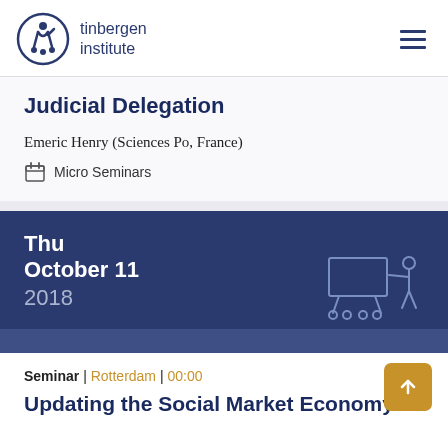tinbergen institute
Judicial Delegation
Emeric Henry (Sciences Po, France)
Micro Seminars
Thu October 11 2018
Seminar | Rotterdam | 00:00
Updating the Social Market Economy: